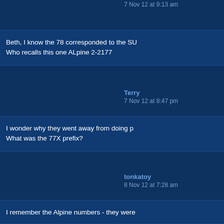7 Nov 12 at 9:13 am
Beth, I know the 78 corresponded to the SU
Who recalls this one ALpine 2-2177
Terry
7 Nov 12 at 8:47 pm
I wonder why they went away from doing p
What was the 77X prefix?
tonkatoy
8 Nov 12 at 7:28 am
I remember the Alpine numbers - they were
Beth
9 Nov 12 at 11:15 am